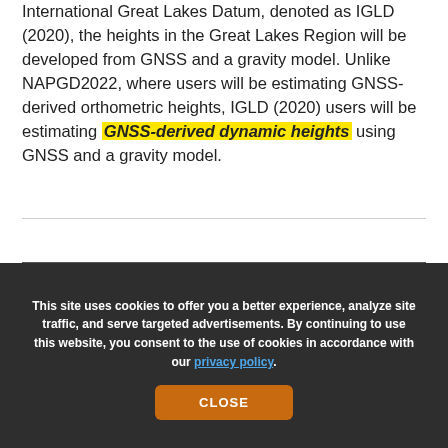International Great Lakes Datum, denoted as IGLD (2020), the heights in the Great Lakes Region will be developed from GNSS and a gravity model. Unlike NAPGD2022, where users will be estimating GNSS-derived orthometric heights, IGLD (2020) users will be estimating GNSS-derived dynamic heights using GNSS and a gravity model.
This site uses cookies to offer you a better experience, analyze site traffic, and serve targeted advertisements. By continuing to use this website, you consent to the use of cookies in accordance with our privacy policy.